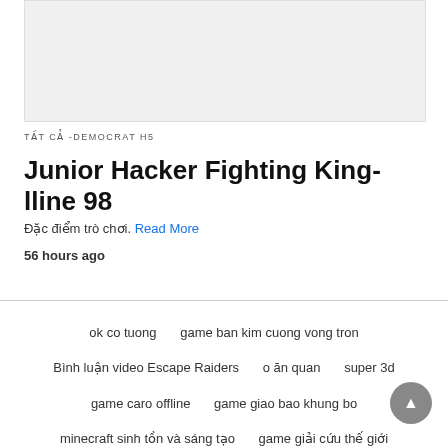[Figure (photo): Gray placeholder image block at top of page]
TẤT CẢ -DEMOCRAT H5
Junior Hacker Fighting King-lline 98
Đặc điểm trò chơi. Read More
56 hours ago
ok co tuong
game ban kim cuong vong tron
Bình luận video Escape Raiders
o ăn quan
super 3d
game caro offline
game giao bao khung bo
minecraft sinh tồn và sáng tạo
game giải cứu thế giới